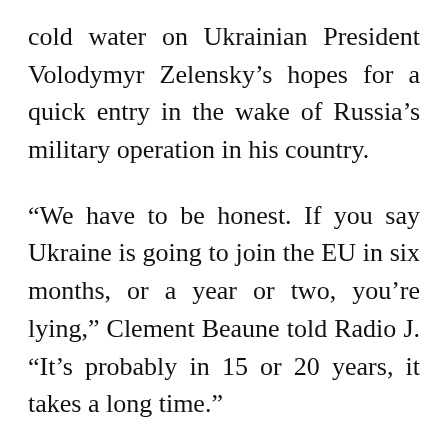cold water on Ukrainian President Volodymyr Zelensky's hopes for a quick entry in the wake of Russia's military operation in his country.
“We have to be honest. If you say Ukraine is going to join the EU in six months, or a year or two, you’re lying,” Clement Beaune told Radio J. “It’s probably in 15 or 20 years, it takes a long time.”
“I don’t want to offer Ukrainians any illusions or lies,” he said, reiterating an offer by President Emmanuel Macron to create a looser